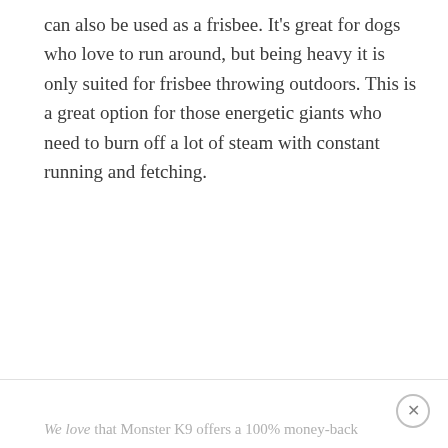can also be used as a frisbee. It's great for dogs who love to run around, but being heavy it is only suited for frisbee throwing outdoors. This is a great option for those energetic giants who need to burn off a lot of steam with constant running and fetching.
We love that Monster K9 offers a 100% money-back